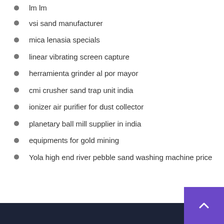lm lm
vsi sand manufacturer
mica lenasia specials
linear vibrating screen capture
herramienta grinder al por mayor
cmi crusher sand trap unit india
ionizer air purifier for dust collector
planetary ball mill supplier in india
equipments for gold mining
Yola high end river pebble sand washing machine price